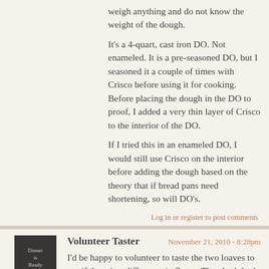weigh anything and do not know the weight of the dough.
It's a 4-quart, cast iron DO. Not enameled. It is a pre-seasoned DO, but I seasoned it a couple of times with Crisco before using it for cooking. Before placing the dough in the DO to proof, I added a very thin layer of Crisco to the interior of the DO.
If I tried this in an enameled DO, I would still use Crisco on the interior before adding the dough based on the theory that if bread pans need shortening, so will DO's.
Log in or register to post comments
Volunteer Taster
November 21, 2010 - 8:28pm
GSnyde
I'd be happy to volunteer to taste the two loaves to see if there is a difference in flavor. They both look spectacular.

Glenn
Log in or register to post comments